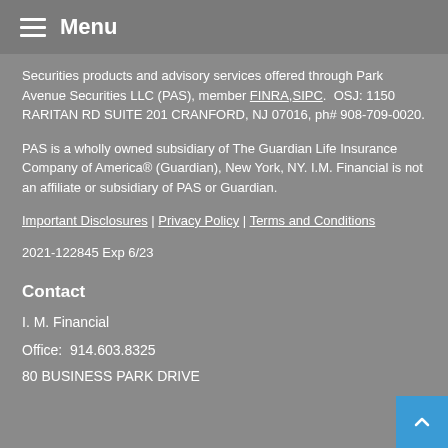Menu
Securities products and advisory services offered through Park Avenue Securities LLC (PAS), member FINRA, SIPC.  OSJ: 1150 RARITAN RD SUITE 201 CRANFORD, NJ 07016, ph# 908-709-0020.
PAS is a wholly owned subsidiary of The Guardian Life Insurance Company of America® (Guardian), New York, NY. I.M. Financial is not an affiliate or subsidiary of PAS or Guardian.
Important Disclosures | Privacy Policy | Terms and Conditions
2021-122845 Exp 6/23
Contact
I. M. Financial
Office:  914.603.8325
80 BUSINESS PARK DRIVE